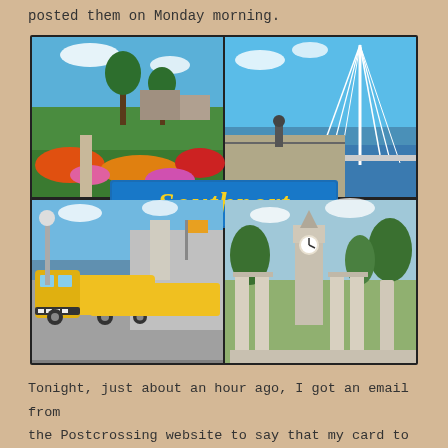posted them on Monday morning.
[Figure (photo): A multi-image postcard of Southport featuring four photographs: top-left shows colorful flower gardens with palm trees; top-right shows a waterfront promenade with a cable-stayed bridge; bottom-left shows a yellow tourist road train; bottom-right shows a classical stone monument with columns and a clock tower. A blue banner in the center reads 'Southport' in yellow italic text.]
Tonight, just about an hour ago, I got an email from the Postcrossing website to say that my card to Ireland had been received and registered today, having travelled 273 miles, and the lady in